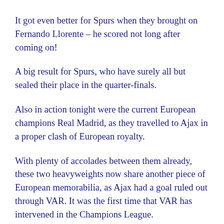It got even better for Spurs when they brought on Fernando Llorente – he scored not long after coming on!
A big result for Spurs, who have surely all but sealed their place in the quarter-finals.
Also in action tonight were the current European champions Real Madrid, as they travelled to Ajax in a proper clash of European royalty.
With plenty of accolades between them already, these two heavyweights now share another piece of European memorabilia, as Ajax had a goal ruled out through VAR. It was the first time that VAR has intervened in the Champions League.